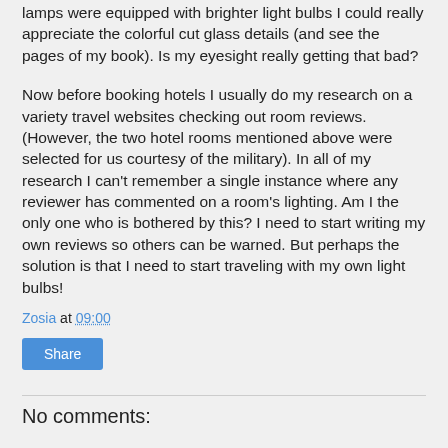lamps were equipped with brighter light bulbs I could really appreciate the colorful cut glass details (and see the pages of my book). Is my eyesight really getting that bad?
Now before booking hotels I usually do my research on a variety travel websites checking out room reviews. (However, the two hotel rooms mentioned above were selected for us courtesy of the military). In all of my research I can't remember a single instance where any reviewer has commented on a room's lighting. Am I the only one who is bothered by this? I need to start writing my own reviews so others can be warned. But perhaps the solution is that I need to start traveling with my own light bulbs!
Zosia at 09:00
Share
No comments: